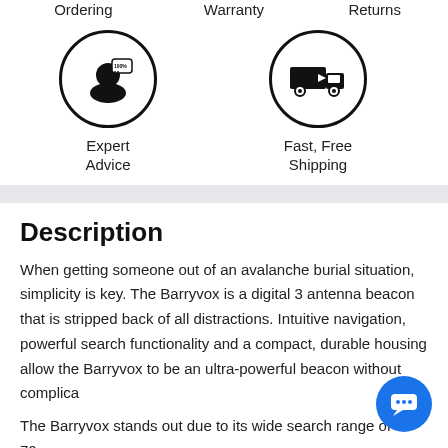[Figure (infographic): Three service icons in a row: Secure Ordering (partial, top), Australian Warranty (partial, top), 30-Day Returns (partial, top). Below: Expert Advice icon (person with 100% badge) and Fast, Free Shipping icon (delivery truck in circle).]
Ordering
Warranty
Returns
Expert Advice
Fast, Free Shipping
Description
When getting someone out of an avalanche burial situation, simplicity is key. The Barryvox is a digital 3 antenna beacon that is stripped back of all distractions. Intuitive navigation, powerful search functionality and a compact, durable housing allow the Barryvox to be an ultra-powerful beacon without complica
The Barryvox stands out due to its wide search range of 70m,